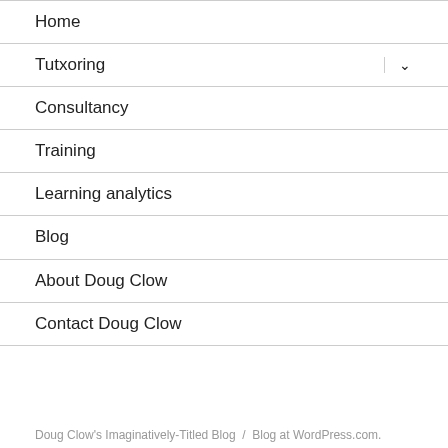Home
Tutxoring
Consultancy
Training
Learning analytics
Blog
About Doug Clow
Contact Doug Clow
Doug Clow's Imaginatively-Titled Blog  /  Blog at WordPress.com.